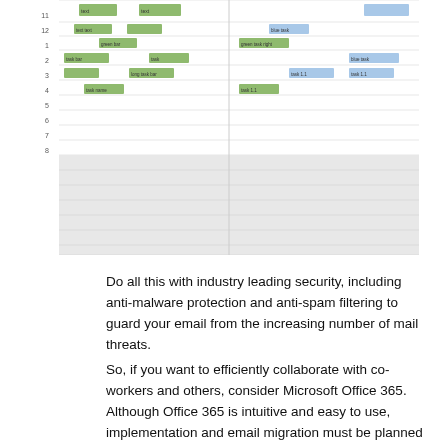[Figure (other): A Gantt-style project schedule chart showing green and blue task bars across multiple rows and time columns, with a grey shaded lower section.]
Do all this with industry leading security, including anti-malware protection and anti-spam filtering to guard your email from the increasing number of mail threats.
So, if you want to efficiently collaborate with co-workers and others, consider Microsoft Office 365. Although Office 365 is intuitive and easy to use, implementation and email migration must be planned and well executed to minimize any downtime during the transition. As such, especially for businesses, it's best to seek the guidance of a professional.